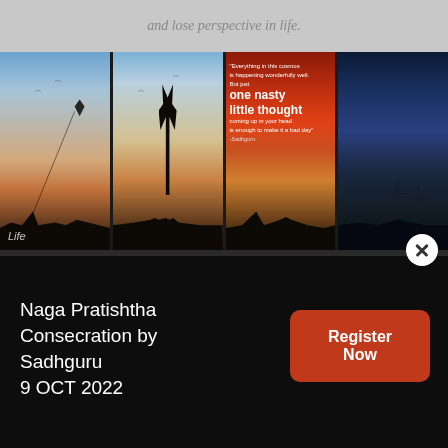and lose perspective in life.
[Figure (photo): Four vertical panel collage: Panel 1 - silhouette of child flying kite at sunset; Panel 2 - silhouette of couple embracing near a tree at dusk; Panel 3 - dramatic red sky with Sadhguru quote about one nasty little thought making a bad day; Panel 4 - dark blue night sky with silhouetted figures and crosses. 'Life' watermark text at bottom left.]
Naga Pratishtha Consecration by Sadhguru
9 OCT 2022
Register Now